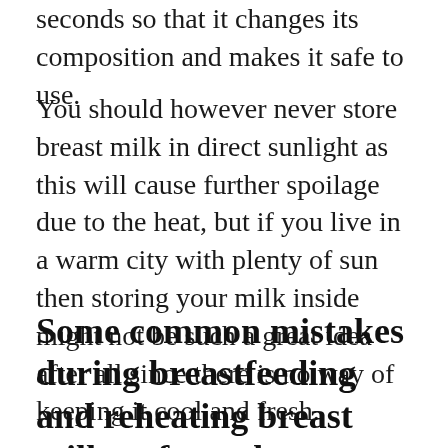seconds so that it changes its composition and makes it safe to use.
You should however never store breast milk in direct sunlight as this will cause further spoilage due to the heat, but if you live in a warm city with plenty of sun then storing your milk inside might not be such a great idea after all since there is no way of keeping it cool and fresh.
Some common mistakes during breastfeeding and reheating breast milk or formula